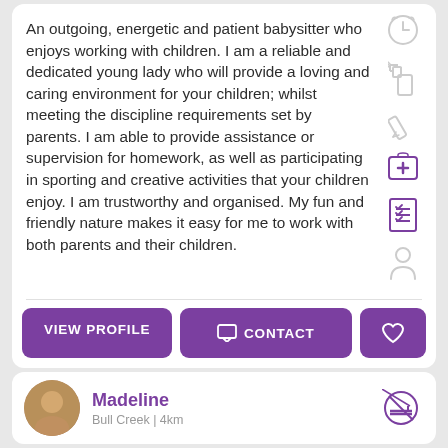An outgoing, energetic and patient babysitter who enjoys working with children. I am a reliable and dedicated young lady who will provide a loving and caring environment for your children; whilst meeting the discipline requirements set by parents. I am able to provide assistance or supervision for homework, as well as participating in sporting and creative activities that your children enjoy. I am trustworthy and organised. My fun and friendly nature makes it easy for me to work with both parents and their children.
[Figure (other): Column of service icons on the right side of the card: clock/timer, spray bottle, pencil, first aid kit (purple), checklist (purple), person silhouette]
VIEW PROFILE
CONTACT
Madeline
Bull Creek | 4km
[Figure (other): No smoking icon (purple circle with cigarette crossed out)]